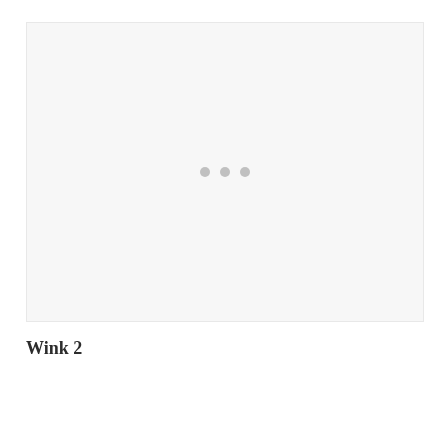[Figure (other): Large light gray image placeholder box with three small gray dots centered in the middle, indicating a loading or empty image state.]
Wink 2